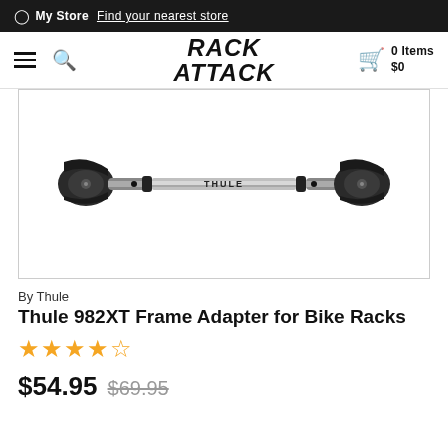My Store  Find your nearest store
RACK ATTACK  0 Items $0
[Figure (photo): Thule 982XT Frame Adapter for Bike Racks product photo — a horizontal extendable aluminum bar with black clamp ends, labeled THULE on the center tube, shown on white background]
By Thule
Thule 982XT Frame Adapter for Bike Racks
★★★★☆ (4.5 stars)
$54.95  $69.95